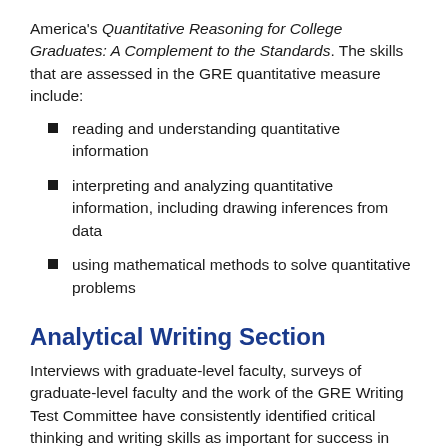America's Quantitative Reasoning for College Graduates: A Complement to the Standards. The skills that are assessed in the GRE quantitative measure include:
reading and understanding quantitative information
interpreting and analyzing quantitative information, including drawing inferences from data
using mathematical methods to solve quantitative problems
Analytical Writing Section
Interviews with graduate-level faculty, surveys of graduate-level faculty and the work of the GRE Writing Test Committee have consistently identified critical thinking and writing skills as important for success in